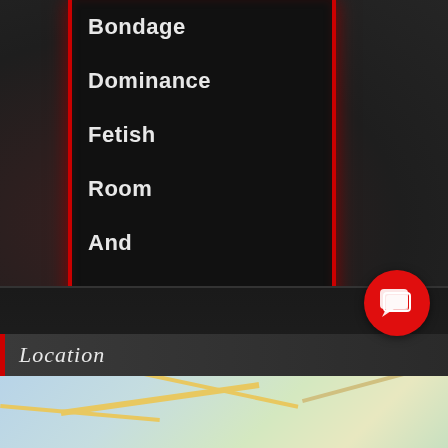Bondage
Dominance
Fetish
Room
And
Board
Kink
Community
[Figure (other): Chat/messaging icon button (red circle with speech bubble icon)]
Location
[Figure (map): Street map showing roads and areas in light blue, green and yellow tones]